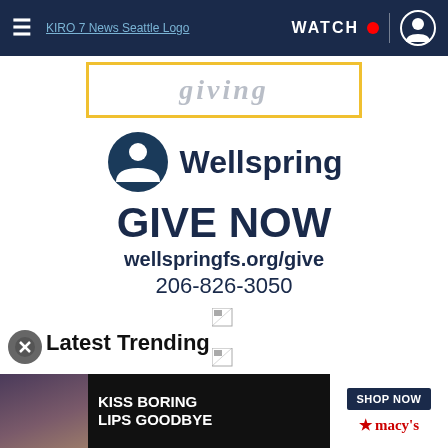KIRO 7 News Seattle — WATCH
[Figure (advertisement): Partial top advertisement with yellow border showing italic cursive text, partial view]
[Figure (logo): Wellspring logo with person icon and text 'Wellspring']
GIVE NOW
wellspringfs.org/give
206-826-3050
[Figure (other): Broken image placeholder icon 1]
[Figure (other): Broken image placeholder icon 2]
Latest Trending
[Figure (advertisement): Bottom banner ad: KISS BORING LIPS GOODBYE — SHOP NOW — Macy's]